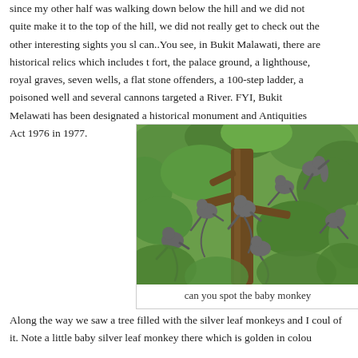since my other half was walking down below the hill and we did not quite make it to the top of the hill, we did not really get to check out the other interesting sights you should see if you can..You see, in Bukit Malawati, there are historical relics which includes the Dutch fort, the palace ground, a lighthouse, royal graves, seven wells, a flat stone used to behead offenders, a 100-step ladder, a poisoned well and several cannons targeted at the Selangor River. FYI, Bukit Melawati has been designated a historical monument and protected under the Antiquities Act 1976 in 1977.
[Figure (photo): A group of silver leaf monkeys (Bukit Melawati) sitting in a large tree with green foliage in the background.]
can you spot the baby monkey
Along the way we saw a tree filled with the silver leaf monkeys and I could not resist taking a shot of it. Note a little baby silver leaf monkey there which is golden in colour.